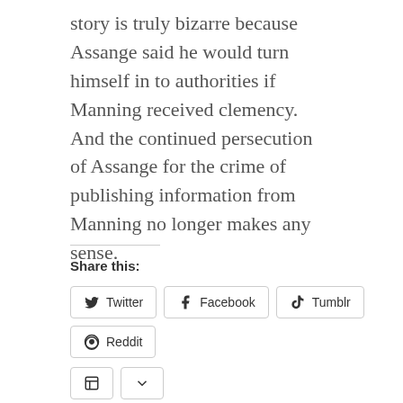story is truly bizarre because Assange said he would turn himself in to authorities if Manning received clemency. And the continued persecution of Assange for the crime of publishing information from Manning no longer makes any sense.
Share this: